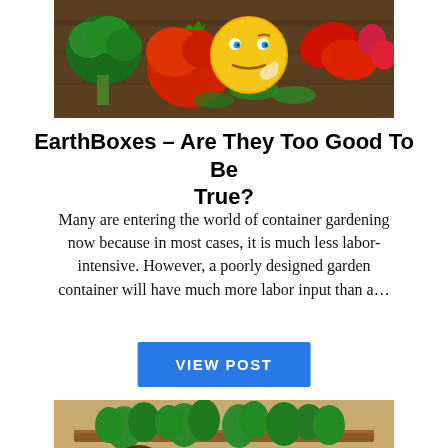[Figure (photo): A still life of vegetables (broccoli, tomato, peppers, greens) on a wooden surface with a cartoon thinking-face emoji in the center]
EarthBoxes – Are They Too Good To Be True?
Many are entering the world of container gardening now because in most cases, it is much less labor-intensive. However, a poorly designed garden container will have much more labor input than a…
VIEW POST
[Figure (photo): Raised garden beds with vegetable plants and decorative wagon-wheel style metal supports on sandy soil]